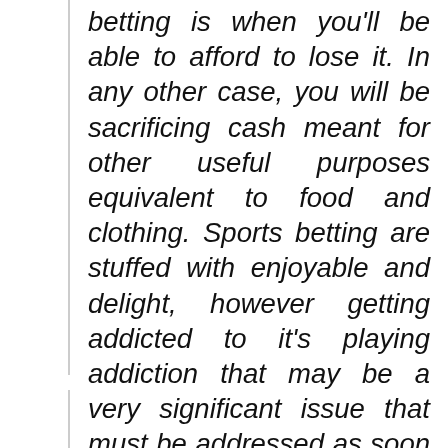betting is when you'll be able to afford to lose it. In any other case, you will be sacrificing cash meant for other useful purposes equivalent to food and clothing. Sports betting are stuffed with enjoyable and delight, however getting addicted to it's playing addiction that may be a very significant issue that must be addressed as soon as possible.